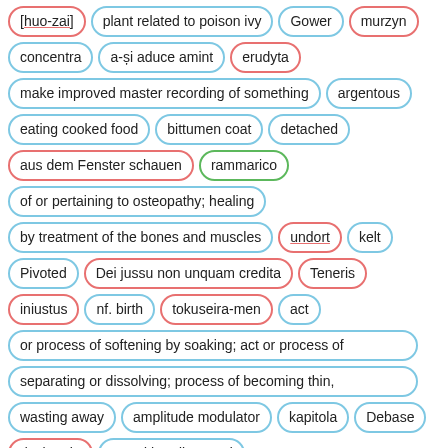[huo-zai]
plant related to poison ivy
Gower
murzyn
concentra
a-și aduce amint
erudyta
make improved master recording of something
argentous
eating cooked food
bittumen coat
detached
aus dem Fenster schauen
rammarico
of or pertaining to osteopathy; healing by treatment of the bones and muscles
undort
kelt
Pivoted
Dei jussu non unquam credita
Teneris
iniustus
nf. birth
tokuseira-men
act or process of softening by soaking; act or process of separating or dissolving; process of becoming thin, wasting away
amplitude modulator
kapitola
Debase
declaratio
sword handle guard